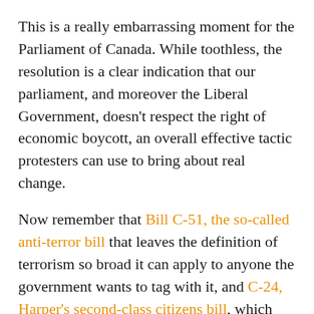This is a really embarrassing moment for the Parliament of Canada. While toothless, the resolution is a clear indication that our parliament, and moreover the Liberal Government, doesn't respect the right of economic boycott, an overall effective tactic protesters can use to bring about real change.
Now remember that Bill C-51, the so-called anti-terror bill that leaves the definition of terrorism so broad it can apply to anyone the government wants to tag with it, and C-24, Harper's second-class citizens bill, which could strip citizenship from anyone convicted of "terrorism" are both still on the books. The Liberals haven't scrapped C-24 or changed C-51 yet, both things they promised to do. In that context, this toothless statement seems a little more menacing.
Makes sense that there is a petition out against this and